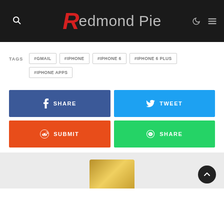Redmond Pie
TAGS  #GMAIL  #IPHONE  #IPHONE 6  #IPHONE 6 PLUS  #IPHONE APPS
f SHARE  (Twitter) TWEET  (Reddit) SUBMIT  (WhatsApp) SHARE
[Figure (photo): Partial photo of a gold iPhone at the bottom of the page]